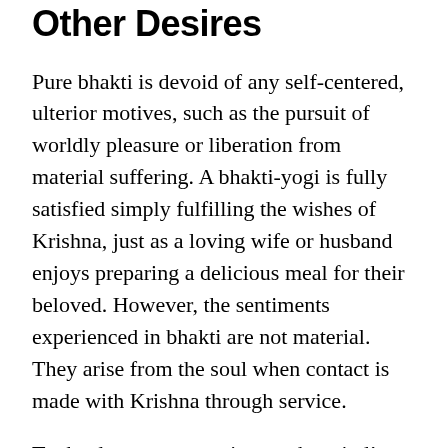Other Desires
Pure bhakti is devoid of any self-centered, ulterior motives, such as the pursuit of worldly pleasure or liberation from material suffering. A bhakti-yogi is fully satisfied simply fulfilling the wishes of Krishna, just as a loving wife or husband enjoys preparing a delicious meal for their beloved. However, the sentiments experienced in bhakti are not material. They arise from the soul when contact is made with Krishna through service.
To the degree one can ignore the mind’s restlessness and curb its self-serving desires, one will be able to focus on krishna-bhakti. Then one will experience spiritual bliss. The best method